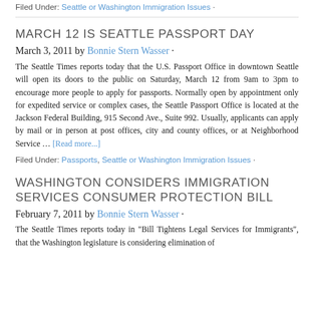Filed Under: Seattle or Washington Immigration Issues ·
MARCH 12 IS SEATTLE PASSPORT DAY
March 3, 2011 by Bonnie Stern Wasser ·
The Seattle Times reports today that the U.S. Passport Office in downtown Seattle will open its doors to the public on Saturday, March 12 from 9am to 3pm to encourage more people to apply for passports. Normally open by appointment only for expedited service or complex cases, the Seattle Passport Office is located at the Jackson Federal Building, 915 Second Ave., Suite 992. Usually, applicants can apply by mail or in person at post offices, city and county offices, or at Neighborhood Service … [Read more...]
Filed Under: Passports, Seattle or Washington Immigration Issues ·
WASHINGTON CONSIDERS IMMIGRATION SERVICES CONSUMER PROTECTION BILL
February 7, 2011 by Bonnie Stern Wasser ·
The Seattle Times reports today in "Bill Tightens Legal Services for Immigrants", that the Washington legislature is considering elimination of